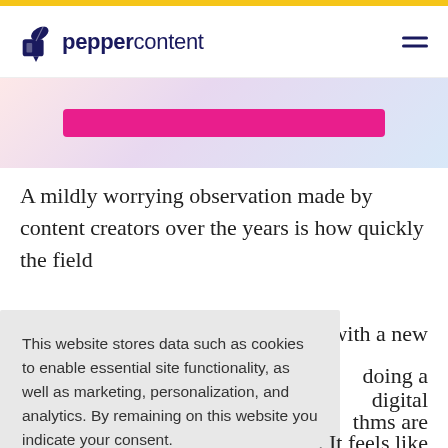peppercontent
[Figure (screenshot): Hero banner area with a pink/magenta horizontal bar on a gradient background (pink to purple to blue)]
A mildly worrying observation made by content creators over the years is how quickly the field has [partially obscured] with a new [partially obscured] doing a [partially obscured] digital [partially obscured] thms are [partially obscured]. It feels like [partially obscured] be [partially obscured]
This website stores data such as cookies to enable essential site functionality, as well as marketing, personalization, and analytics. By remaining on this website you indicate your consent.
Cookie Policy